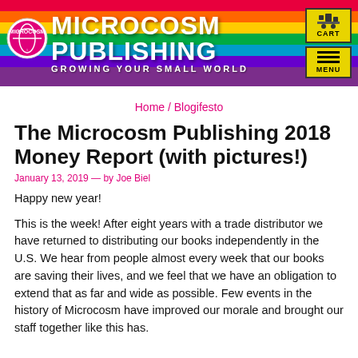[Figure (logo): Microcosm Publishing rainbow banner with logo, brand name, tagline 'Growing Your Small World', cart and menu buttons]
Home / Blogifesto
The Microcosm Publishing 2018 Money Report (with pictures!)
January 13, 2019 — by Joe Biel
Happy new year!
This is the week! After eight years with a trade distributor we have returned to distributing our books independently in the U.S. We hear from people almost every week that our books are saving their lives, and we feel that we have an obligation to extend that as far and wide as possible. Few events in the history of Microcosm have improved our morale and brought our staff together like this has.